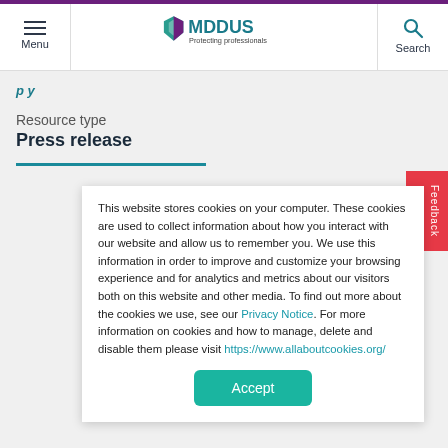[Figure (logo): MDDUS logo with shield icon and text 'MDDUS Protecting professionals']
Resource type
Press release
This website stores cookies on your computer. These cookies are used to collect information about how you interact with our website and allow us to remember you. We use this information in order to improve and customize your browsing experience and for analytics and metrics about our visitors both on this website and other media. To find out more about the cookies we use, see our Privacy Notice. For more information on cookies and how to manage, delete and disable them please visit https://www.allaboutcookies.org/